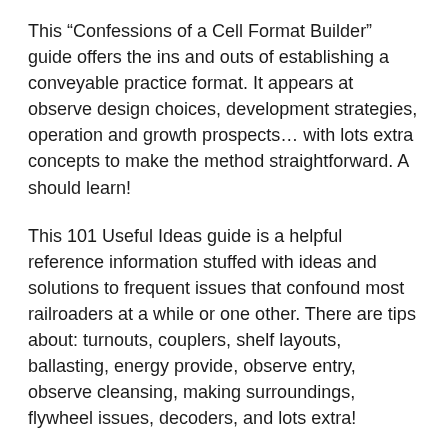This “Confessions of a Cell Format Builder” guide offers the ins and outs of establishing a conveyable practice format. It appears at observe design choices, development strategies, operation and growth prospects… with lots extra concepts to make the method straightforward. A should learn!
This 101 Useful Ideas guide is a helpful reference information stuffed with ideas and solutions to frequent issues that confound most railroaders at a while or one other. There are tips about: turnouts, couplers, shelf layouts, ballasting, energy provide, observe entry, observe cleansing, making surroundings, flywheel issues, decoders, and lots extra!
You may additionally get 4 attention-grabbing and informative video clips which embrace plenty of concepts for anybody within the interest.